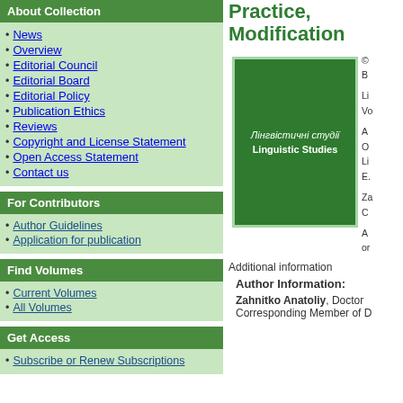About Collection
News
Overview
Editorial Council
Editorial Board
Editorial Policy
Publication Ethics
Reviews
Copyright and License Statement
Open Access Statement
Contact us
For Contributors
Author Guidelines
Application for publication
Find Volumes
Current Volumes
All Volumes
Get Access
Subscribe or Renew Subscriptions
Practice, Modification
[Figure (photo): Cover of Linguistic Studies journal (Лінгвістичні студії) - green cover with white text]
Additional information
Author Information:
Zahnitko Anatoliy, Doctor … Corresponding Member of D…